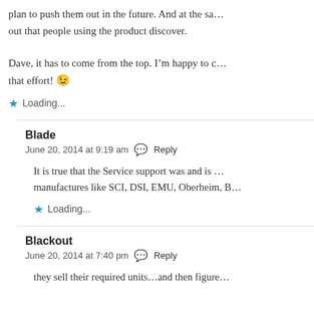plan to push them out in the future. And at the sa... out that people using the product discover.
Dave, it has to come from the top. I'm happy to c... that effort! 😉
Loading...
Blade
June 20, 2014 at 9:19 am  Reply
It is true that the Service support was and is ... manufactures like SCI, DSI, EMU, Oberheim, B...
Loading...
Blackout
June 20, 2014 at 7:40 pm  Reply
they sell their required units...and then figure...